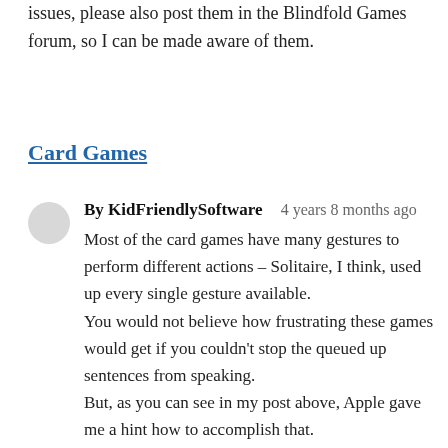issues, please also post them in the Blindfold Games forum, so I can be made aware of them.
Card Games
By KidFriendlySoftware   4 years 8 months ago
Most of the card games have many gestures to perform different actions – Solitaire, I think, used up every single gesture available.
You would not believe how frustrating these games would get if you couldn't stop the queued up sentences from speaking.
But, as you can see in my post above, Apple gave me a hint how to accomplish that.
I need to test it.